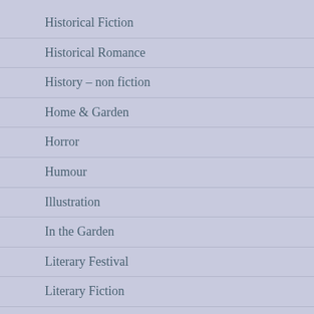Historical Fiction
Historical Romance
History – non fiction
Home & Garden
Horror
Humour
Illustration
In the Garden
Literary Festival
Literary Fiction